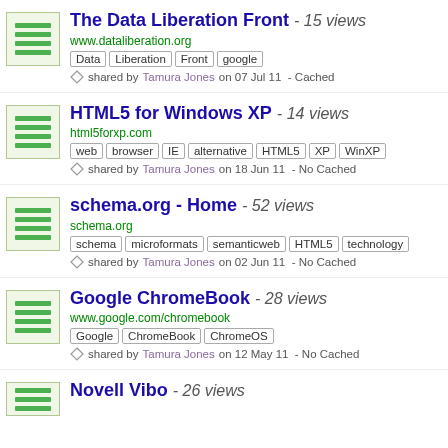The Data Liberation Front - 15 views | www.dataliberation.org | Tags: Data, Liberation, Front, google | shared by Tamura Jones on 07 Jul 11 - Cached
HTML5 for Windows XP - 14 views | html5forxp.com | Tags: web, browser, IE, alternative, HTML5, XP, WinXP | shared by Tamura Jones on 18 Jun 11 - No Cached
schema.org - Home - 52 views | schema.org | Tags: schema, microformats, semanticweb, HTML5, technology | shared by Tamura Jones on 02 Jun 11 - No Cached
Google ChromeBook - 28 views | www.google.com/chromebook | Tags: Google, ChromeBook, ChromeOS | shared by Tamura Jones on 12 May 11 - No Cached
Novell Vibe - 26 views